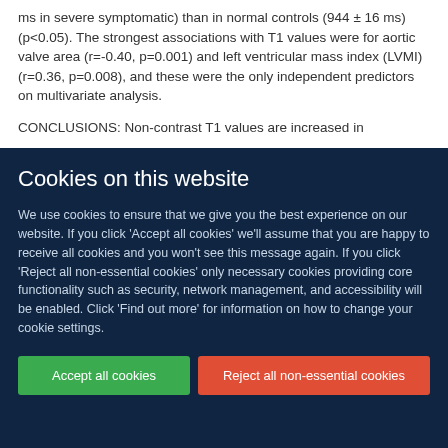ms in severe symptomatic) than in normal controls (944 ± 16 ms) (p<0.05). The strongest associations with T1 values were for aortic valve area (r=-0.40, p=0.001) and left ventricular mass index (LVMI) (r=0.36, p=0.008), and these were the only independent predictors on multivariate analysis.
CONCLUSIONS: Non-contrast T1 values are increased in
Cookies on this website
We use cookies to ensure that we give you the best experience on our website. If you click 'Accept all cookies' we'll assume that you are happy to receive all cookies and you won't see this message again. If you click 'Reject all non-essential cookies' only necessary cookies providing core functionality such as security, network management, and accessibility will be enabled. Click 'Find out more' for information on how to change your cookie settings.
Accept all cookies
Reject all non-essential cookies